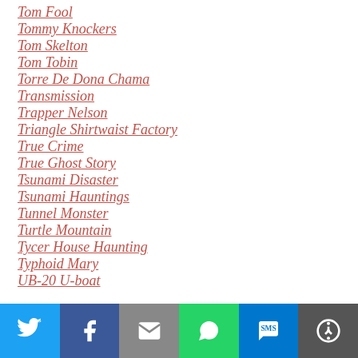Tom Fool
Tommy Knockers
Tom Skelton
Tom Tobin
Torre De Dona Chama
Transmission
Trapper Nelson
Triangle Shirtwaist Factory
True Crime
True Ghost Story
Tsunami Disaster
Tsunami Hauntings
Tunnel Monster
Turtle Mountain
Tycer House Haunting
Typhoid Mary
UB-20 U-boat
Social share bar: Twitter, Facebook, Email, WhatsApp, SMS, More